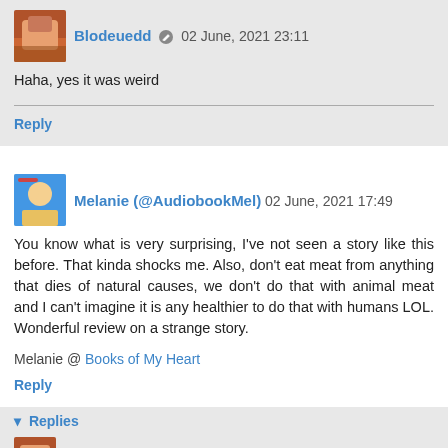Blodeuedd 02 June, 2021 23:11
Haha, yes it was weird
Reply
Melanie (@AudiobookMel) 02 June, 2021 17:49
You know what is very surprising, I've not seen a story like this before. That kinda shocks me. Also, don't eat meat from anything that dies of natural causes, we don't do that with animal meat and I can't imagine it is any healthier to do that with humans LOL. Wonderful review on a strange story.
Melanie @ Books of My Heart
Reply
▾ Replies
Blodeuedd 02 June, 2021 23:13